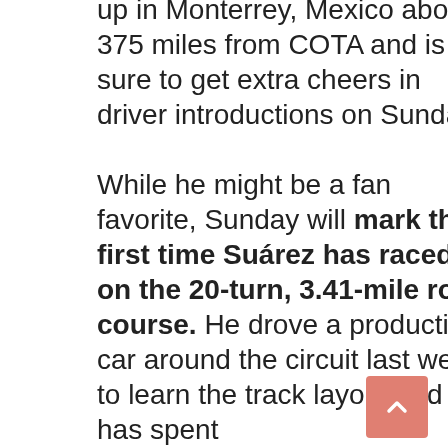up in Monterrey, Mexico about 375 miles from COTA and is sure to get extra cheers in driver introductions on Sunday.

While he might be a fan favorite, Sunday will mark the first time Suárez has raced on the 20-turn, 3.41-mile road course. He drove a production car around the circuit last week to learn the track layout and has spent